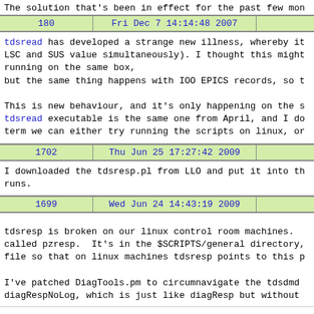The solution that's been in effect for the past few mon
| 180 | Fri Dec 7 14:14:48 2007 |  |
| --- | --- | --- |
tdsread has developed a strange new illness, whereby it LSC and SUS value simultaneously). I thought this might running on the same box, but the same thing happens with IOO EPICS records, so t

This is new behaviour, and it's only happening on the s tdsread executable is the same one from April, and I do term we can either try running the scripts on linux, or
| 1702 | Thu Jun 25 17:27:42 2009 |  |
| --- | --- | --- |
I downloaded the tdsresp.pl from LLO and put it into th runs.
| 1699 | Wed Jun 24 14:43:19 2009 |  |
| --- | --- | --- |
tdsresp is broken on our linux control room machines. called pzresp.  It's in the $SCRIPTS/general directory, file so that on linux machines tdsresp points to this p

I've patched DiagTools.pm to circumnavigate the tdsdmd diagRespNoLog, which is just like diagResp but without